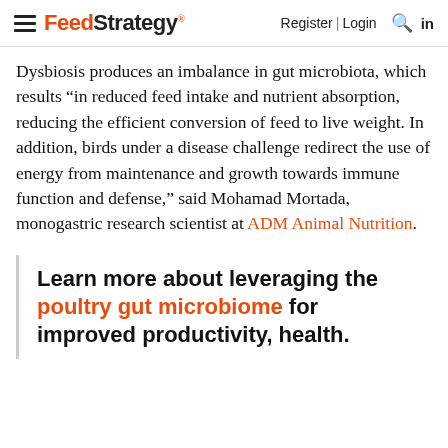Feed Strategy® Register | Login 🔍 in
Dysbiosis produces an imbalance in gut microbiota, which results "in reduced feed intake and nutrient absorption, reducing the efficient conversion of feed to live weight. In addition, birds under a disease challenge redirect the use of energy from maintenance and growth towards immune function and defense," said Mohamad Mortada, monogastric research scientist at ADM Animal Nutrition.
Learn more about leveraging the poultry gut microbiome for improved productivity, health.